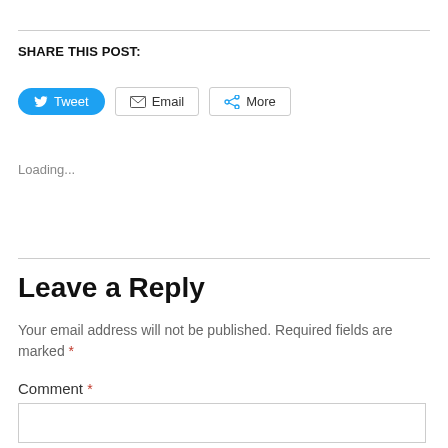SHARE THIS POST:
[Figure (other): Social sharing buttons: Tweet (blue Twitter button), Email (envelope icon), More (share icon)]
Loading...
Leave a Reply
Your email address will not be published. Required fields are marked *
Comment *